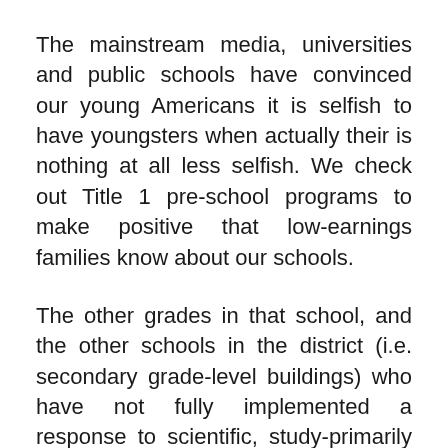The mainstream media, universities and public schools have convinced our young Americans it is selfish to have youngsters when actually their is nothing at all less selfish. We check out Title 1 pre-school programs to make positive that low-earnings families know about our schools.
The other grades in that school, and the other schools in the district (i.e. secondary grade-level buildings) who have not fully implemented a response to scientific, study-primarily based intervention course of action ought to use a pattern of strengths and